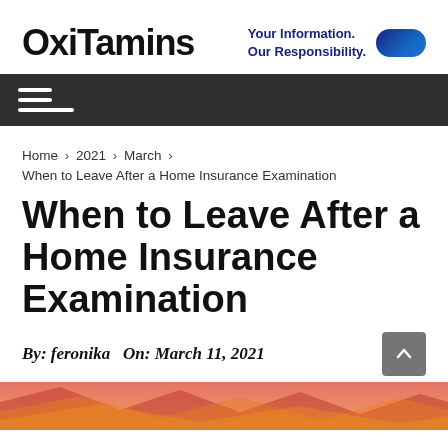OxiTamins — Your Information. Our Responsibility.
Home › 2021 › March ›
When to Leave After a Home Insurance Examination
When to Leave After a Home Insurance Examination
By: feronika  On: March 11, 2021
[Figure (illustration): Decorative colorful geometric image strip at bottom of page]